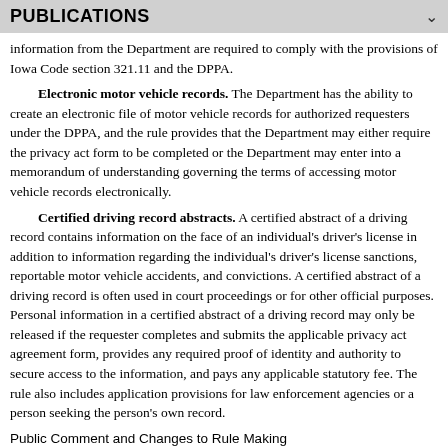PUBLICATIONS
information from the Department are required to comply with the provisions of Iowa Code section 321.11 and the DPPA.
Electronic motor vehicle records. The Department has the ability to create an electronic file of motor vehicle records for authorized requesters under the DPPA, and the rule provides that the Department may either require the privacy act form to be completed or the Department may enter into a memorandum of understanding governing the terms of accessing motor vehicle records electronically.
Certified driving record abstracts. A certified abstract of a driving record contains information on the face of an individual's driver's license in addition to information regarding the individual's driver's license sanctions, reportable motor vehicle accidents, and convictions. A certified abstract of a driving record is often used in court proceedings or for other official purposes. Personal information in a certified abstract of a driving record may only be released if the requester completes and submits the applicable privacy act agreement form, provides any required proof of identity and authority to secure access to the information, and pays any applicable statutory fee. The rule also includes application provisions for law enforcement agencies or a person seeking the person's own record.
Public Comment and Changes to Rule Making
Notice of Intended Action for this rule making was published in the Iowa Administrative Bulletin on September 22, 2021, as ARC 5921C. A public hearing was held on October 14, 2021, at 1 p.m.
The Department received written and oral comments from an insurance agent and risk management consultant, Matthew Wilson with Molyneaux, Shelly Chandler and Susan